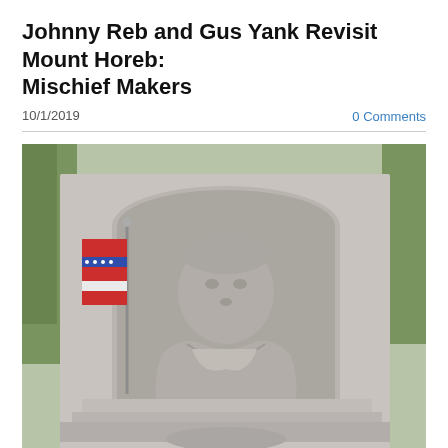Johnny Reb and Gus Yank Revisit Mount Horeb: Mischief Makers
10/1/2019
0 Comments
[Figure (photo): A granite stone monument relief carving showing a bust portrait of a figure in colonial or military dress, set within an arched niche. A flag with red, white, and blue stripes is visible to the left of the monument. Trees are visible in the background.]